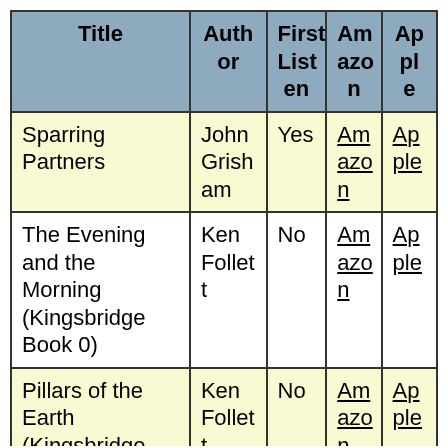| Title | Author | First Listen | Amazon | Apple |
| --- | --- | --- | --- | --- |
| Sparring Partners | John Grisham | Yes | Amazon | Apple |
| The Evening and the Morning (Kingsbridge Book 0) | Ken Follett | No | Amazon | Apple |
| Pillars of the Earth (Kingsbridge | Ken Follett | No | Amazon | Apple |